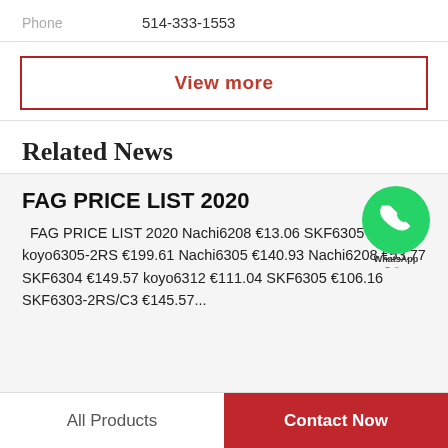Phone   514-333-1553
View more
Related News
FAG PRICE LIST 2020
FAG PRICE LIST 2020 Nachi6208 €13.06 SKF6305 €179.07 koyo6305-2RS €199.61 Nachi6305 €140.93 Nachi6208 €53.77 SKF6304 €149.57 koyo6312 €111.04 SKF6305 €106.16 SKF6303-2RS/C3 €145.57...
All Products   Contact Now